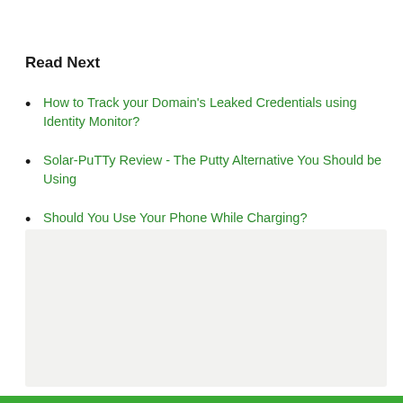Read Next
How to Track your Domain's Leaked Credentials using Identity Monitor?
Solar-PuTTy Review - The Putty Alternative You Should be Using
Should You Use Your Phone While Charging?
Windows 10 August Patch Tuesday Bug Report: What You Should Expect Before…
[Figure (other): Gray placeholder box at bottom of page]